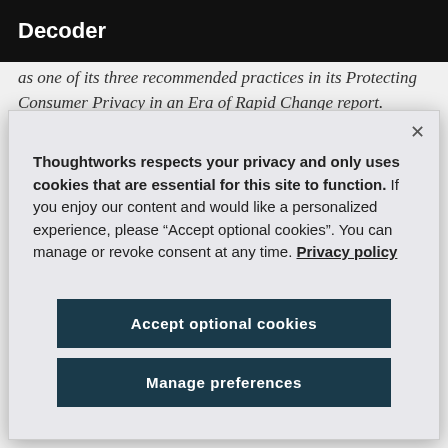Decoder
as one of its three recommended practices in its Protecting Consumer Privacy in an Era of Rapid Change report.
Thoughtworks respects your privacy and only uses cookies that are essential for this site to function. If you enjoy our content and would like a personalized experience, please “Accept optional cookies”. You can manage or revoke consent at any time. Privacy policy
Accept optional cookies
Manage preferences